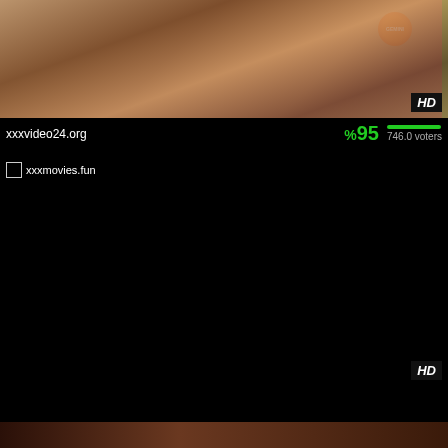[Figure (screenshot): Video thumbnail showing a person with jewelry and decorative clothing, with a Gemini TV logo (orange sun) in top right, green stripe on far right edge, and HD badge in bottom right corner]
xxxvideo24.org
%95   746.0 voters
[Figure (screenshot): Black/blank video thumbnail with xxxmovies.fun watermark text in top left, HD badge in bottom right]
xxxmovies.fun
%90   995.0 voters
[Figure (photo): Partial bottom thumbnail showing a person, cropped]